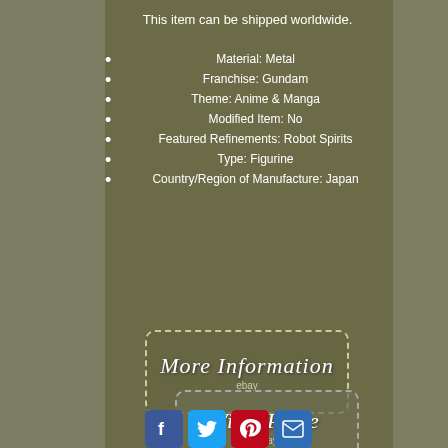This item can be shipped worldwide.
Material: Metal
Franchise: Gundam
Theme: Anime & Manga
Modified Item: No
Featured Refinements: Robot Spirits
Type: Figurine
Country/Region of Manufacture: Japan
[Figure (other): More Information button with dashed border and eBay label]
[Figure (other): View Price button with dashed border and eBay label]
[Figure (other): Social media share icons: Facebook, Twitter, Pinterest, Email]